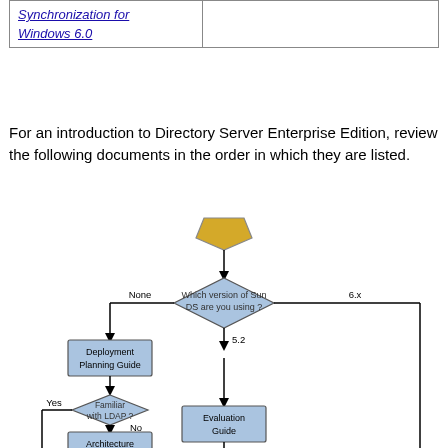| Synchronization for Windows 6.0 |  |
For an introduction to Directory Server Enterprise Edition, review the following documents in the order in which they are listed.
[Figure (flowchart): Flowchart showing which documents to review based on Sun DS version. Starts with a terminal symbol, leads to a diamond asking 'Which version of Sun DS are you using?' with three branches: None (left) -> Deployment Planning Guide -> Familiar with LDAP? (Yes -> left, No -> Architecture Reference); 5.2 (down) -> Evaluation Guide; 6.x (right, goes off page down)]